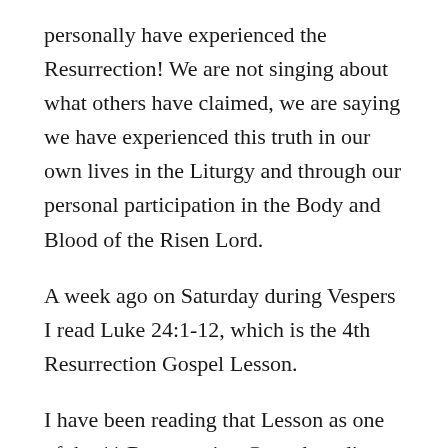personally have experienced the Resurrection! We are not singing about what others have claimed, we are saying we have experienced this truth in our own lives in the Liturgy and through our personal participation in the Body and Blood of the Risen Lord.
A week ago on Saturday during Vespers I read Luke 24:1-12, which is the 4th Resurrection Gospel Lesson.
I have been reading that Lesson as one of the 11 Ressurection Gospel readings for the last 28 years at Vespers and this time around my mind was drawn to a very particular idea.
The myrrhbearing women come to the tomb and